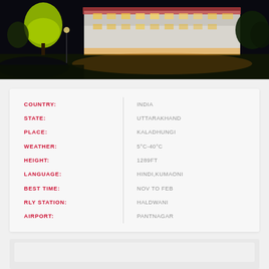[Figure (photo): Night photograph of a large white multi-story hotel or resort building illuminated with warm lights, surrounded by green-lit trees, dark sky background, with grounds visible in foreground]
| FIELD | VALUE |
| --- | --- |
| COUNTRY: | INDIA |
| STATE: | UTTARAKHAND |
| PLACE: | KALADHUNGI |
| WEATHER: | 5°C-40°C |
| HEIGHT: | 1289FT |
| LANGUAGE: | HINDI,KUMAONI |
| BEST TIME: | NOV TO FEB |
| RLY STATION: | HALDWANI |
| AIRPORT: | PANTNAGAR |